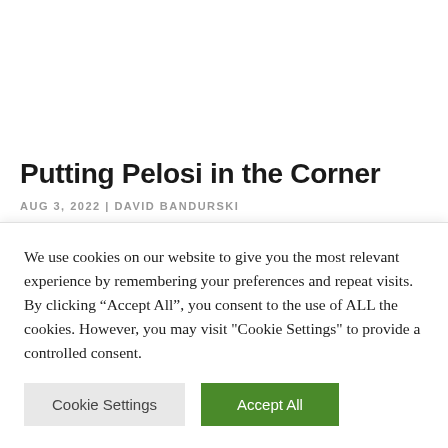Putting Pelosi in the Corner
AUG 3, 2022 | DAVID BANDURSKI
US House Speaker Nancy Pelosi's visit to Taiwan is
We use cookies on our website to give you the most relevant experience by remembering your preferences and repeat visits. By clicking “Accept All”, you consent to the use of ALL the cookies. However, you may visit "Cookie Settings" to provide a controlled consent.
Cookie Settings | Accept All